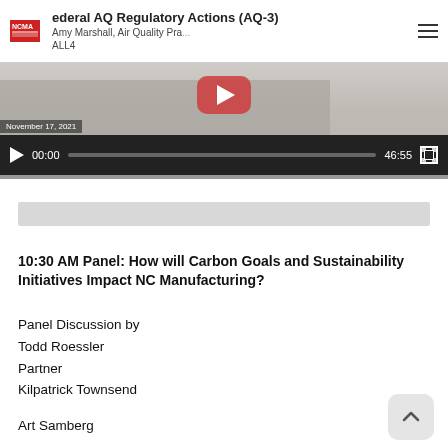[Figure (screenshot): Video player screenshot showing NCMA branded video titled 'Federal AQ Regulatory Actions (AQ-3)' by Amy Marshall, Air Quality Practice, ALL4, dated November 17, 2021. Video player shows timestamp 00:00 and duration 46:55, with a laptop keyboard background image.]
10:30 AM Panel: How will Carbon Goals and Sustainability Initiatives Impact NC Manufacturing?
Panel Discussion by
Todd Roessler
Partner
Kilpatrick Townsend
Art Samberg